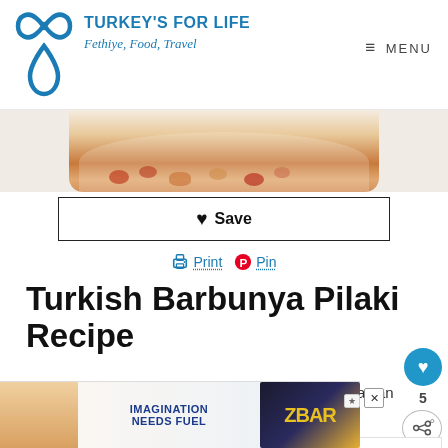TURKEY'S FOR LIFE — Fethiye, Food, Travel | MENU
[Figure (photo): Partial food photo showing a dish with beans and tomatoes in a white bowl, cropped at top]
❤ Save
🖨 Print  📌 Pin
Turkish Barbunya Pilaki Recipe
A light summer dish, perfect for the meze table or as an accompaniment to cold meats.
Course  Meze
Cuisine  Turkish
Prep Time  30 minutes
[Figure (photo): WHAT'S NEXT panel with food thumbnail and text: Domates Soslu Patlic...]
[Figure (photo): Advertisement banner: IMAGINATION NEEDS FUEL — ZBAR chocolate chip]